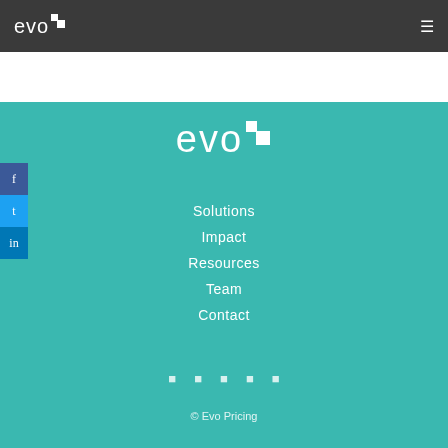evo [logo] [menu icon]
[Figure (logo): Evo Pricing logo large white on teal background]
Solutions
Impact
Resources
Team
Contact
[Figure (infographic): Five social media icon buttons centered at bottom of teal section]
© Evo Pricing